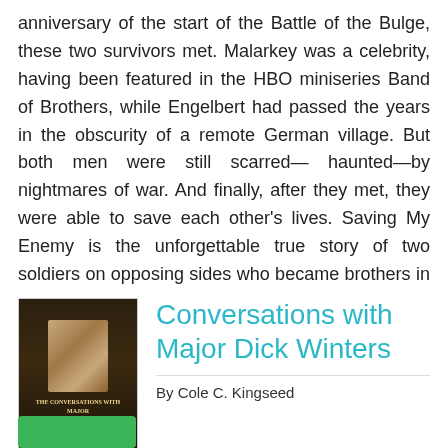anniversary of the start of the Battle of the Bulge, these two survivors met. Malarkey was a celebrity, having been featured in the HBO miniseries Band of Brothers, while Engelbert had passed the years in the obscurity of a remote German village. But both men were still scarred— haunted—by nightmares of war. And finally, after they met, they were able to save each other's lives. Saving My Enemy is the unforgettable true story of two soldiers on opposing sides who became brothers in arms.
[Figure (illustration): Book cover for 'Conversations with Major Dick Winters' showing a portrait of a young man in military uniform against a dark background]
Conversations with Major Dick Winters
By Cole C. Kingseed